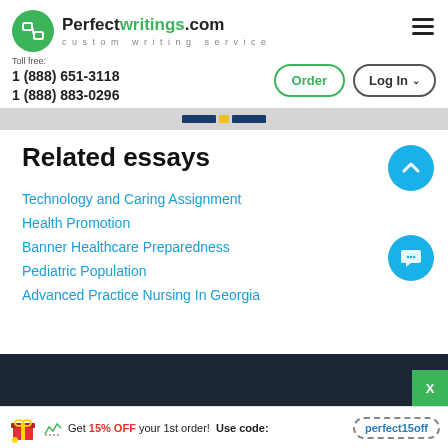Perfectwritings.com — custom writing service
Toll free:
1 (888) 651-3118
1 (888) 883-0296
Related essays
Technology and Caring Assignment
Health Promotion
Banner Healthcare Preparedness
Pediatric Population
Advanced Practice Nursing In Georgia
Get 15% OFF your 1st order! Use code: perfect15off